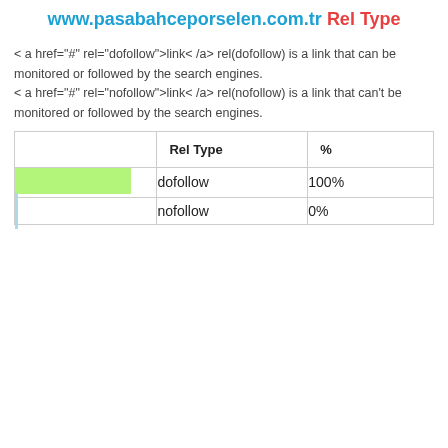www.pasabahceporselen.com.tr Rel Type
< a href="#" rel="dofollow">link< /a> rel(dofollow) is a link that can be monitored or followed by the search engines.
< a href="#" rel="nofollow">link< /a> rel(nofollow) is a link that can't be monitored or followed by the search engines.
|  | Rel Type | % |
| --- | --- | --- |
| [bar] | dofollow | 100% |
| [bar] | nofollow | 0% |